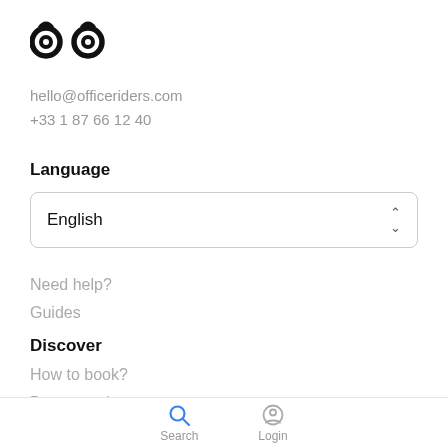[Figure (logo): Office Riders logo: two circular bicycle lock icons side by side]
hello@officeriders.com
+33 1 87 66 12 40
Language
English
Need help?
Guides
Discover
How to book?
Become a host
Search   Login